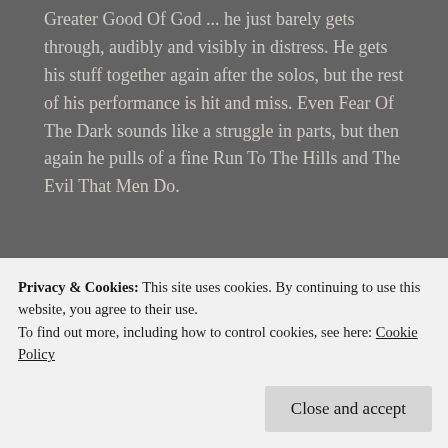Greater Good Of God ... he just barely gets through, audibly and visibly in distress. He gets his stuff together again after the solos, but the rest of his performance is hit and miss. Even Fear Of The Dark sounds like a struggle in parts, but then again he pulls of a fine Run To The Hills and The Evil That Men Do.
REPLY
[Figure (other): User avatar icon - green house/home shaped logo on circular background]
SakaRaka7
songs so much I can't be objective. But I
Privacy & Cookies: This site uses cookies. By continuing to use this website, you agree to their use. To find out more, including how to control cookies, see here: Cookie Policy
Close and accept